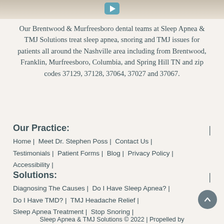[Figure (photo): Top banner image showing sandy/stone texture with a play button icon partially visible at top]
Our Brentwood & Murfreesboro dental teams at Sleep Apnea & TMJ Solutions treat sleep apnea, snoring and TMJ issues for patients all around the Nashville area including from Brentwood, Franklin, Murfreesboro, Columbia, and Spring Hill TN and zip codes 37129, 37128, 37064, 37027 and 37067.
Our Practice:
Home | Meet Dr. Stephen Poss | Contact Us | Testimonials | Patient Forms | Blog | Privacy Policy | Accessibility |
Solutions:
Diagnosing The Causes | Do I Have Sleep Apnea? | Do I Have TMD? | TMJ Headache Relief | Sleep Apnea Treatment | Stop Snoring | TMJ/TMD Treatment | What Is Sleep Apnea? | What Is TMJ Disorder (TMD)?
Sleep Apnea & TMJ Solutions © 2022 | Propelled by